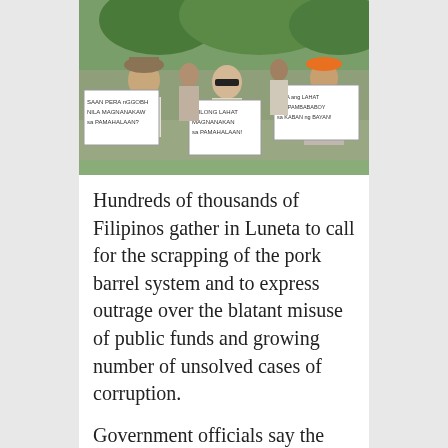[Figure (photo): Protesters at Luneta park holding signs in Filipino text, calling out government corruption and pork barrel misuse. Multiple people visible holding handwritten signs. Trees visible in background.]
Hundreds of thousands of Filipinos gather in Luneta to call for the scrapping of the pork barrel system and to express outrage over the blatant misuse of public funds and growing number of unsolved cases of corruption.
Government officials say the